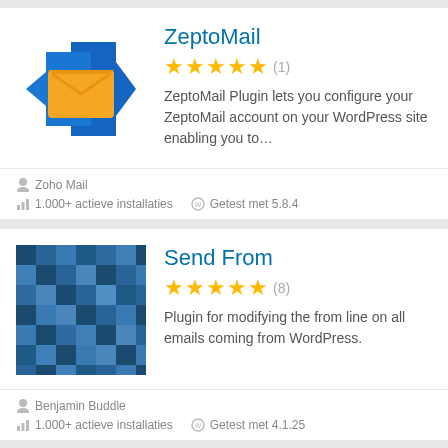[Figure (logo): ZeptoMail plugin icon: blue arrow shapes with orange email envelope]
ZeptoMail
★★★★★ (1)
ZeptoMail Plugin lets you configure your ZeptoMail account on your WordPress site enabling you to...
Zoho Mail
1.000+ actieve installaties   Getest met 5.8.4
[Figure (illustration): Send From plugin icon: blue pixel/mosaic pattern]
Send From
★★★★★ (8)
Plugin for modifying the from line on all emails coming from WordPress.
Benjamin Buddle
1.000+ actieve installaties   Getest met 4.1.25